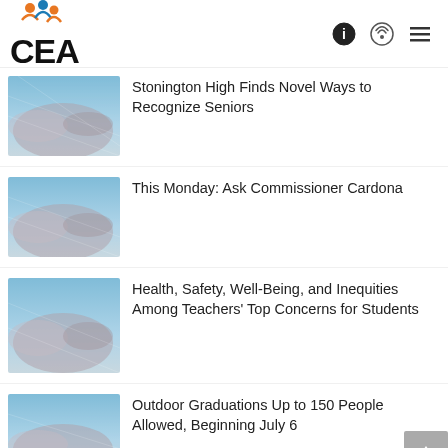CEA
[Figure (screenshot): Thumbnail image with blue sky and clouds]
Stonington High Finds Novel Ways to Recognize Seniors
[Figure (screenshot): Thumbnail image with blue sky and clouds]
This Monday: Ask Commissioner Cardona
[Figure (screenshot): Thumbnail image with blue sky and clouds]
Health, Safety, Well-Being, and Inequities Among Teachers' Top Concerns for Students
[Figure (screenshot): Thumbnail image with blue sky and clouds]
Outdoor Graduations Up to 150 People Allowed, Beginning July 6